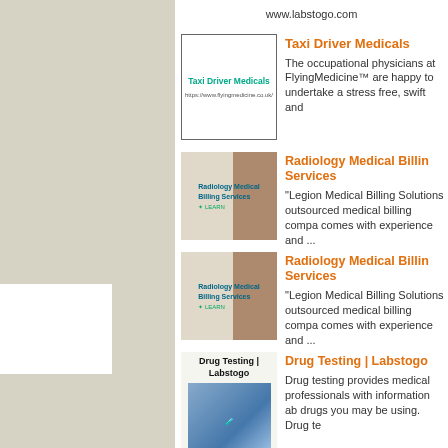www.labstogo.com
Taxi Driver Medicals
The occupational physicians at FlyingMedicine™ are happy to undertake a stress free, swift and
Radiology Medical Billing Services
"Legion Medical Billing Solutions outsourced medical billing compa comes with experience and ...
Radiology Medical Billing Services
"Legion Medical Billing Solutions outsourced medical billing compa comes with experience and ...
Drug Testing | Labstogo
Drug testing provides medical professionals with information ab drugs you may be using. Drug te
Keto Blast Gummies : It assists with expanding degree of energy and strength
Keto Blast Gummies It animates enacts the ketosis cycle by deli